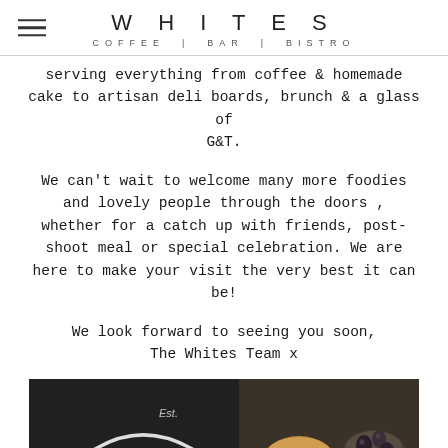WHITES
COFFEE | BAR | BISTRO
serving everything from coffee & homemade cake to artisan deli boards, brunch & a glass of G&T.
We can't wait to welcome many more foodies and lovely people through the doors , whether for a catch up with friends, post-shoot meal or special celebration. We are here to make your visit the very best it can be!
We look forward to seeing you soon,
The Whites Team x
[Figure (photo): Dark background with white curved text/logo and food items including what appears to be a pastry/bun and a bowl of olives on a deli board]